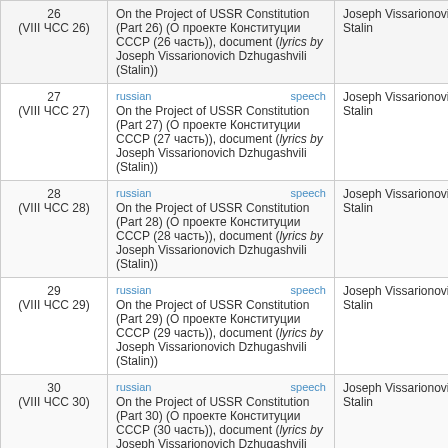| # | Description | Author |
| --- | --- | --- |
| 26 (VIII ЧСС 26) | On the Project of USSR Constitution (Part 26) (О проекте Конституции СССР (26 часть)), document (lyrics by Joseph Vissarionovich Dzhugashvili (Stalin)) | Joseph Vissarionovich Stalin |
| 27 (VIII ЧСС 27) | russian | speech
On the Project of USSR Constitution (Part 27) (О проекте Конституции СССР (27 часть)), document (lyrics by Joseph Vissarionovich Dzhugashvili (Stalin)) | Joseph Vissarionovich Stalin |
| 28 (VIII ЧСС 28) | russian | speech
On the Project of USSR Constitution (Part 28) (О проекте Конституции СССР (28 часть)), document (lyrics by Joseph Vissarionovich Dzhugashvili (Stalin)) | Joseph Vissarionovich Stalin |
| 29 (VIII ЧСС 29) | russian | speech
On the Project of USSR Constitution (Part 29) (О проекте Конституции СССР (29 часть)), document (lyrics by Joseph Vissarionovich Dzhugashvili (Stalin)) | Joseph Vissarionovich Stalin |
| 30 (VIII ЧСС 30) | russian | speech
On the Project of USSR Constitution (Part 30) (О проекте Конституции СССР (30 часть)), document (lyrics by Joseph Vissarionovich Dzhugashvili (Stalin)) | Joseph Vissarionovich Stalin |
| 31 (VIII ЧСС 31) | russian | speech
On the Project of USSR Constitution (Part 31) (О проекте Конституции СССР (31 часть)), document (lyrics by Joseph Vissarionovich Dzhugashvili (Stalin)) | Joseph Vissarionovich Stalin |